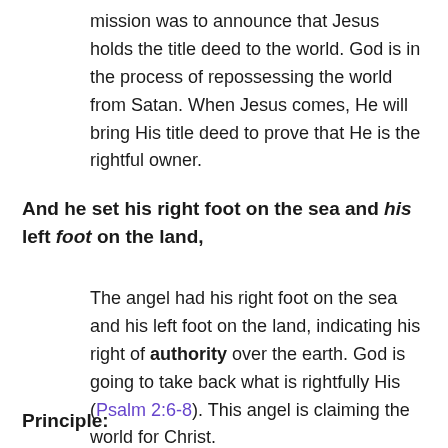mission was to announce that Jesus holds the title deed to the world. God is in the process of repossessing the world from Satan. When Jesus comes, He will bring His title deed to prove that He is the rightful owner.
And he set his right foot on the sea and his left foot on the land,
The angel had his right foot on the sea and his left foot on the land, indicating his right of authority over the earth. God is going to take back what is rightfully His (Psalm 2:6-8). This angel is claiming the world for Christ.
Principle: